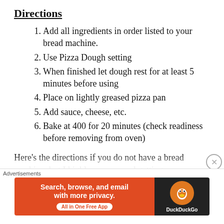Directions
Add all ingredients in order listed to your bread machine.
Use Pizza Dough setting
When finished let dough rest for at least 5 minutes before using
Place on lightly greased pizza pan
Add sauce, cheese, etc.
Bake at 400 for 20 minutes (check readiness before removing from oven)
Here’s the directions if you do not have a bread machine, but I highly recommend getting one...
[Figure (screenshot): DuckDuckGo advertisement banner with text 'Search, browse, and email with more privacy. All in One Free App' on an orange background with the DuckDuckGo logo on a dark background.]